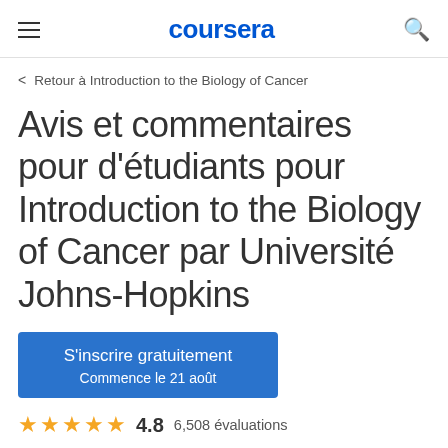coursera
Retour à Introduction to the Biology of Cancer
Avis et commentaires pour d'étudiants pour Introduction to the Biology of Cancer par Université Johns-Hopkins
S'inscrire gratuitement
Commence le 21 août
4.8  6,508 évaluations